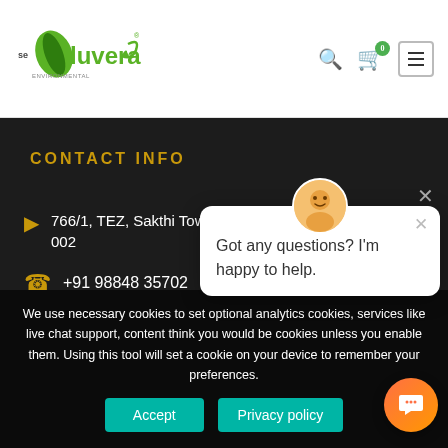[Figure (logo): Ecoluvera logo with green leaf and arrow design]
CONTACT INFO
766/1, TEZ, Sakthi Towers 1, Anna salai, Chennai 600 002
+91 98848 35702
We use necessary cookies to set optional analytics cookies, services like live chat support, content think you would be, cookies unless you enable them. Using this tool will set a cookie on your device to remember your preferences.
[Figure (screenshot): Chat popup with avatar saying: Got any questions? I'm happy to help.]
Accept
Privacy policy